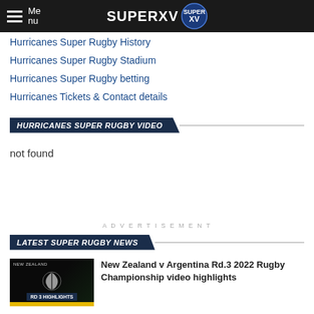Menu | SUPERXV
Hurricanes Super Rugby History
Hurricanes Super Rugby Stadium
Hurricanes Super Rugby betting
Hurricanes Tickets & Contact details
HURRICANES SUPER RUGBY VIDEO
not found
ADVERTISEMENT
LATEST SUPER RUGBY NEWS
[Figure (photo): New Zealand RD 3 Highlights thumbnail with silver fern logo]
New Zealand v Argentina Rd.3 2022 Rugby Championship video highlights